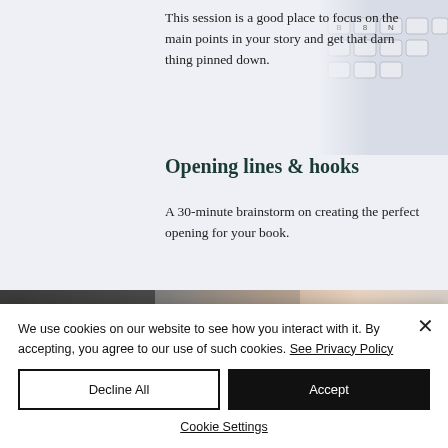This session is a good place to focus on the main points in your story and get that darn thing pinned down.
Opening lines & hooks
A 30-minute brainstorm on creating the perfect opening for your book.
[Figure (photo): Decorative keyboard photo in top right corner]
[Figure (photo): Banner image with blurred dark and light gradient background with text 'Indie is a State of Mind' in large serif font]
We use cookies on our website to see how you interact with it. By accepting, you agree to our use of such cookies. See Privacy Policy
Decline All
Accept
Cookie Settings